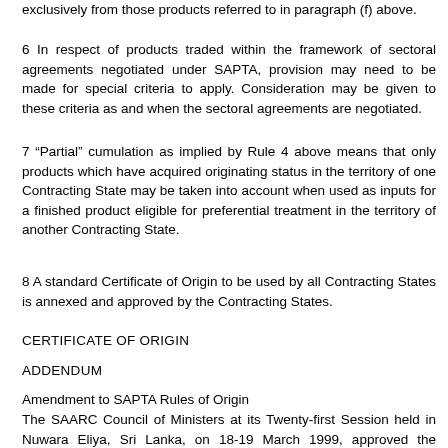exclusively from those products referred to in paragraph (f) above.
6 In respect of products traded within the framework of sectoral agreements negotiated under SAPTA, provision may need to be made for special criteria to apply. Consideration may be given to these criteria as and when the sectoral agreements are negotiated.
7 “Partial” cumulation as implied by Rule 4 above means that only products which have acquired originating status in the territory of one Contracting State may be taken into account when used as inputs for a finished product eligible for preferential treatment in the territory of another Contracting State.
8 A standard Certificate of Origin to be used by all Contracting States is annexed and approved by the Contracting States.
CERTIFICATE OF ORIGIN
ADDENDUM
Amendment to SAPTA Rules of Origin
The SAARC Council of Ministers at its Twenty-first Session held in Nuwara Eliya, Sri Lanka, on 18-19 March 1999, approved the amendments to the Rules 3(a), 4 and 10 relating to the Rules of Origin (Annex II)